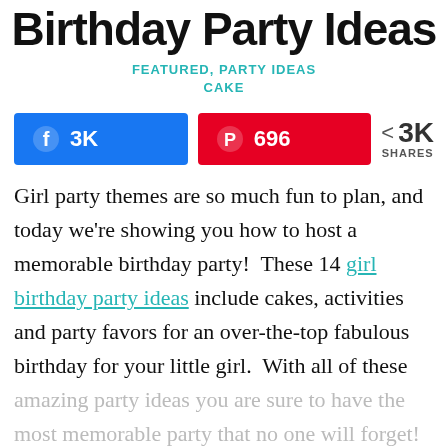Birthday Party Ideas
FEATURED, PARTY IDEAS
CAKE
[Figure (infographic): Social share buttons: Facebook with 3K shares, Pinterest with 696 saves, and a share icon showing 3K SHARES total]
Girl party themes are so much fun to plan, and today we're showing you how to host a memorable birthday party!  These 14 girl birthday party ideas include cakes, activities and party favors for an over-the-top fabulous birthday for your little girl.  With all of these amazing party ideas you are sure to have the most memorable party that no one will forget!